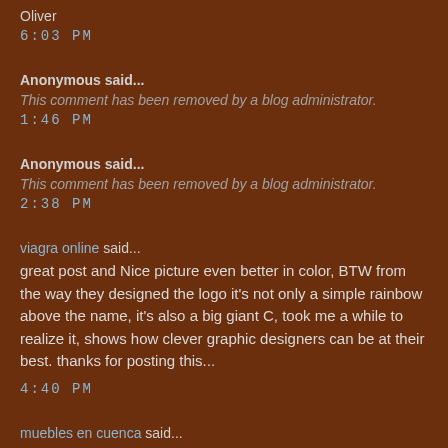Oliver
6:03 PM
Anonymous said...
This comment has been removed by a blog administrator.
1:46 PM
Anonymous said...
This comment has been removed by a blog administrator.
2:38 PM
viagra online said...
great post and Nice picture even better in color, BTW from the way they designed the logo it's not only a simple rainbow above the name, it's also a big giant C, took me a while to realize it, shows how clever graphic designers can be at their best. thanks for posting this...
4:40 PM
muebles en cuenca said...